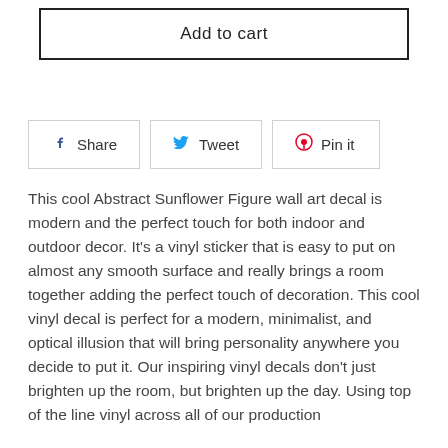[Figure (screenshot): Add to cart button with border]
[Figure (infographic): Social sharing buttons: Share (Facebook), Tweet (Twitter), Pin it (Pinterest)]
This cool Abstract Sunflower Figure wall art decal is modern and the perfect touch for both indoor and outdoor decor. It's a vinyl sticker that is easy to put on almost any smooth surface and really brings a room together adding the perfect touch of decoration. This cool vinyl decal is perfect for a modern, minimalist, and optical illusion that will bring personality anywhere you decide to put it. Our inspiring vinyl decals don't just brighten up the room, but brighten up the day. Using top of the line vinyl across all of our production